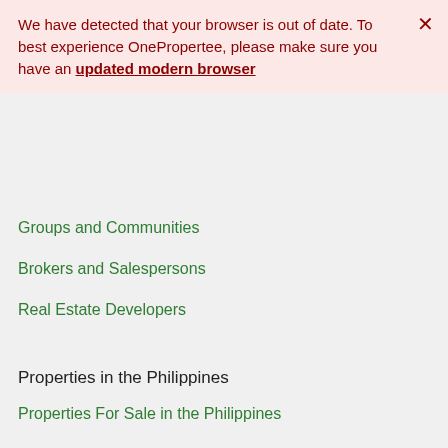We have detected that your browser is out of date. To best experience OnePropertee, please make sure you have an updated modern browser
Groups and Communities
Brokers and Salespersons
Real Estate Developers
Properties in the Philippines
Properties For Sale in the Philippines
Top Searched Properties in the Philippines
Featured Properties in the Philippines
Rent to Own Houses
Selling Properties Help Center
Buying Properties Help Center